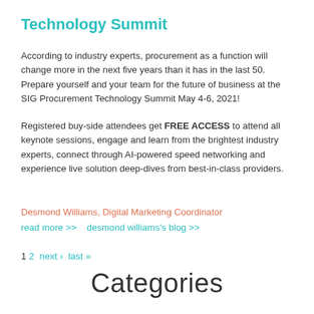Technology Summit
According to industry experts, procurement as a function will change more in the next five years than it has in the last 50. Prepare yourself and your team for the future of business at the SIG Procurement Technology Summit May 4-6, 2021!
Registered buy-side attendees get FREE ACCESS to attend all keynote sessions, engage and learn from the brightest industry experts, connect through AI-powered speed networking and experience live solution deep-dives from best-in-class providers.
Desmond Williams, Digital Marketing Coordinator
read more >>    desmond williams's blog >>
1 2 next › last »
Categories